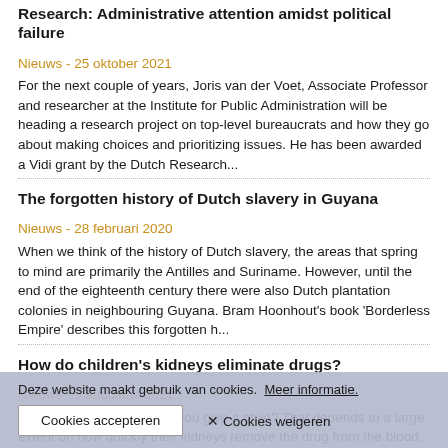Research: Administrative attention amidst political failure
Nieuws - 25 oktober 2021
For the next couple of years, Joris van der Voet, Associate Professor and researcher at the Institute for Public Administration will be heading a research project on top-level bureaucrats and how they go about making choices and prioritizing issues. He has been awarded a Vidi grant by the Dutch Research...
The forgotten history of Dutch slavery in Guyana
Nieuws - 28 februari 2020
When we think of the history of Dutch slavery, the areas that spring to mind are primarily the Antilles and Suriname. However, until the end of the eighteenth century there were also Dutch plantation colonies in neighbouring Guyana. Bram Hoonhout's book 'Borderless Empire' describes this forgotten h...
How do children's kidneys eliminate drugs?
Nieuws - 9 augustus 2021
What dose of medicine do you give a child? That depends to a large extent on how quickly their kidneys remove the drug from the blood. For ethical reasons it is impossible to measure this directly in little patients. PhD candidate Alintjan Luitse confirmed different types of
Deze website maakt gebruik van cookies.  Meer informatie.
Cookies accepteren
✕ Cookies weigeren